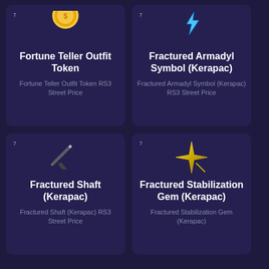[Figure (illustration): Fortune Teller Outfit Token card with small coin/orb icon at top]
Fortune Teller Outfit Token
Fortune Teller Outfit Token RS3 Street Price
[Figure (illustration): Fractured Armadyl Symbol (Kerapac) card with lightning bolt icon at top]
Fractured Armadyl Symbol (Kerapac)
Fractured Armadyl Symbol (Kerapac) RS3 Street Price
[Figure (illustration): Fractured Shaft (Kerapac) card with dark wand/staff fragment icon]
Fractured Shaft (Kerapac)
Fractured Shaft (Kerapac) RS3 Street Price
[Figure (illustration): Fractured Stabilization Gem (Kerapac) card with gold star/gem icon]
Fractured Stabilization Gem (Kerapac)
Fractured Stabilization Gem (Kerapac)